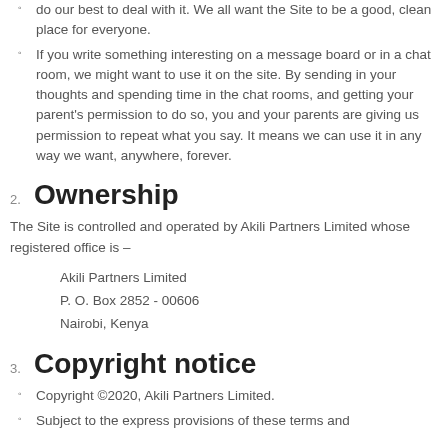do our best to deal with it. We all want the Site to be a good, clean place for everyone.
If you write something interesting on a message board or in a chat room, we might want to use it on the site. By sending in your thoughts and spending time in the chat rooms, and getting your parent's permission to do so, you and your parents are giving us permission to repeat what you say. It means we can use it in any way we want, anywhere, forever.
2. Ownership
The Site is controlled and operated by Akili Partners Limited whose registered office is –
Akili Partners Limited
P. O. Box 2852 - 00606
Nairobi, Kenya
3. Copyright notice
Copyright ©2020, Akili Partners Limited.
Subject to the express provisions of these terms and